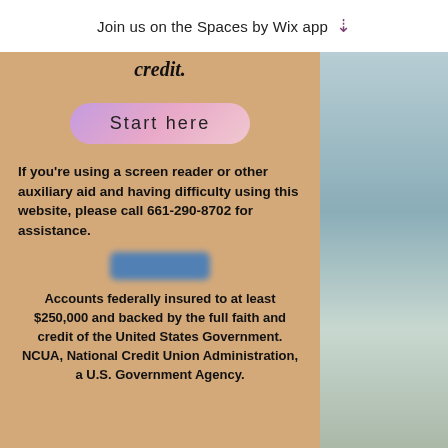Join us on the Spaces by Wix app ↓
credit.
[Figure (other): Start here button with purple-pink gradient pill shape]
If you're using a screen reader or other auxiliary aid and having difficulty using this website, please call 661-290-8702 for assistance.
[Figure (other): Blurred blue button]
Accounts federally insured to at least $250,000 and backed by the full faith and credit of the United States Government. NCUA, National Credit Union Administration, a U.S. Government Agency.